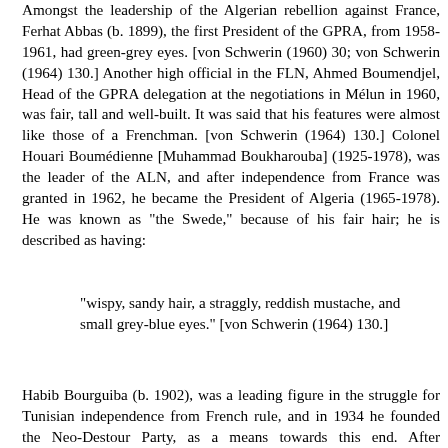Amongst the leadership of the Algerian rebellion against France, Ferhat Abbas (b. 1899), the first President of the GPRA, from 1958-1961, had green-grey eyes. [von Schwerin (1960) 30; von Schwerin (1964) 130.] Another high official in the FLN, Ahmed Boumendjel, Head of the GPRA delegation at the negotiations in Mélun in 1960, was fair, tall and well-built. It was said that his features were almost like those of a Frenchman. [von Schwerin (1964) 130.] Colonel Houari Boumédienne [Muhammad Boukharouba] (1925-1978), was the leader of the ALN, and after independence from France was granted in 1962, he became the President of Algeria (1965-1978). He was known as "the Swede," because of his fair hair; he is described as having:
"wispy, sandy hair, a straggly, reddish mustache, and small grey-blue eyes." [von Schwerin (1964) 130.]
Habib Bourguiba (b. 1902), was a leading figure in the struggle for Tunisian independence from French rule, and in 1934 he founded the Neo-Destour Party, as a means towards this end. After independence in 1956, he became the first President of Tunisia (1956-1987); he was blue eyed.